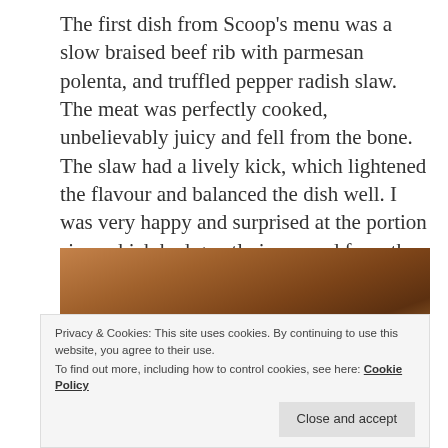The first dish from Scoop's menu was a slow braised beef rib with parmesan polenta, and truffled pepper radish slaw. The meat was perfectly cooked, unbelievably juicy and fell from the bone. The slaw had a lively kick, which lightened the flavour and balanced the dish well. I was very happy and surprised at the portion size, which had greatly improved from the first event.
[Figure (photo): A dark, warm-toned photograph showing a wooden surface or food item, mostly obscured by the cookie consent banner overlay.]
Privacy & Cookies: This site uses cookies. By continuing to use this website, you agree to their use.
To find out more, including how to control cookies, see here: Cookie Policy
Close and accept